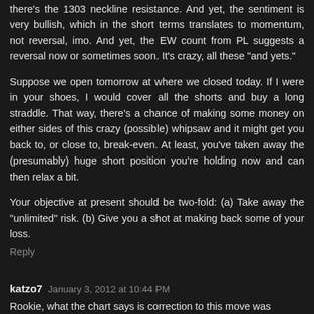there's the 1303 neckline resistance. And yet, the sentiment is very bullish, which in the short terms translates to momentum, not reversal, imo. And yet, the EW count from PL suggests a reversal now or sometimes soon. It's crazy, all these "and yets."
Suppose we open tomorrow at where we closed today. If I were in your shoes, I would cover all the shorts and buy a long straddle. That way, there's a chance of making some money on either sides of this crazy (possible) whipsaw and it might get you back to, or close to, break-even. At least, you've taken away the (presumably) huge short position you're holding now and can then relax a bit.
Your objective at present should be two-fold: (a) Take away the "unlimited" risk. (b) Give you a shot at making back some of your loss.
Reply
katzo7  January 3, 2012 at 10:44 PM
Rookie, what the chart says is correction to this move was